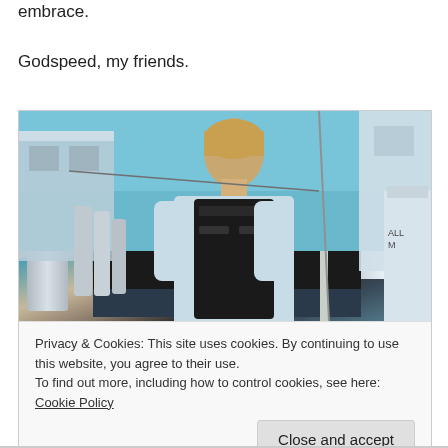embrace.
Godspeed, my friends.
[Figure (photo): A man with light brown hair wearing a black tactical vest over a light blue shirt, standing outdoors in an urban setting with buildings and blue sky in the background]
Privacy & Cookies: This site uses cookies. By continuing to use this website, you agree to their use.
To find out more, including how to control cookies, see here: Cookie Policy
Close and accept